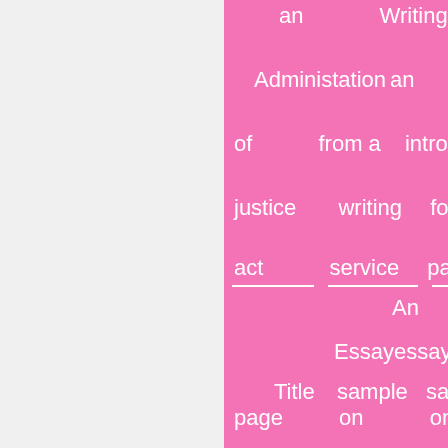an Writing
Administration an
of from a introduction
justice writing for your
act service paper
An
Essay essay
Title sample sample
page on on
example leadership management
MBA Biology Unique
Research...